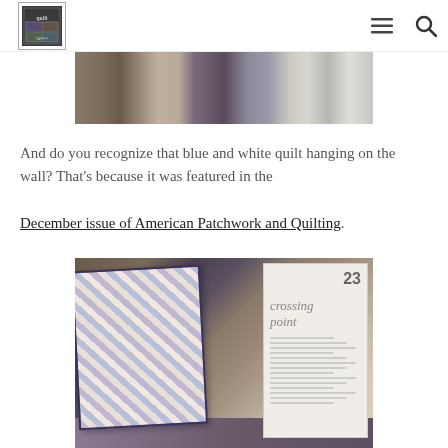Quilt Taffy [logo] — navigation menu and search icons
[Figure (photo): Partial view of a quilt shop interior showing fabric bolts and books on shelves, cropped at top]
And do you recognize that blue and white quilt hanging on the wall? That's because it was featured in the December issue of American Patchwork and Quilting.
[Figure (photo): Photo of an open quilting magazine (American Patchwork and Quilting, December issue) with a blue and white quilt draped across it, placed on a surface with other quilts visible around it. The magazine shows a section titled 'crossing point'.]